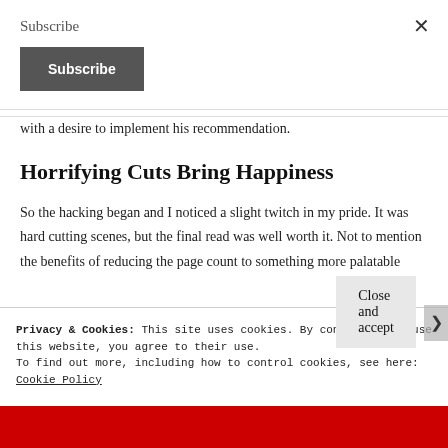Subscribe
Subscribe (button)
with a desire to implement his recommendation.
Horrifying Cuts Bring Happiness
So the hacking began and I noticed a slight twitch in my pride. It was hard cutting scenes, but the final read was well worth it. Not to mention the benefits of reducing the page count to something more palatable
Privacy & Cookies: This site uses cookies. By continuing to use this website, you agree to their use.
To find out more, including how to control cookies, see here: Cookie Policy
Close and accept